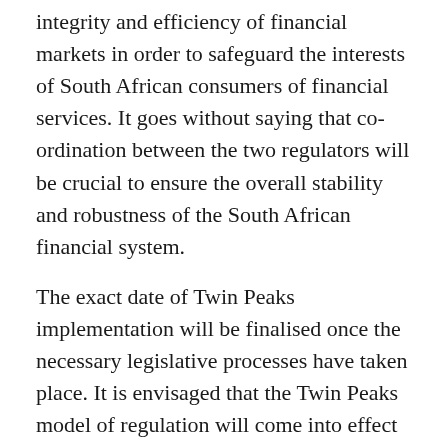integrity and efficiency of financial markets in order to safeguard the interests of South African consumers of financial services. It goes without saying that co-ordination between the two regulators will be crucial to ensure the overall stability and robustness of the South African financial system.
The exact date of Twin Peaks implementation will be finalised once the necessary legislative processes have taken place. It is envisaged that the Twin Peaks model of regulation will come into effect by the end of 2014 although this is dependent on the parliamentary process and the final enactment of the bill.
While the enabling legislation for "Twin Peaks" is still in the process of being finalised, some of the support measures recently announced by the SARB for African